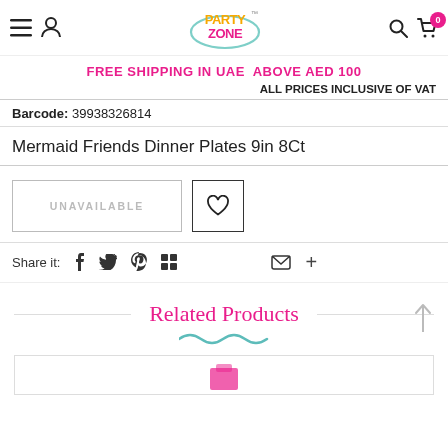Party Zone - navigation bar with hamburger, user, logo, search, cart (0)
FREE SHIPPING IN UAE ABOVE AED 100
ALL PRICES INCLUSIVE OF VAT
Barcode: 39938326814
Mermaid Friends Dinner Plates 9in 8Ct
UNAVAILABLE
Share it:
Related Products
[Figure (other): Product card preview at bottom of page]